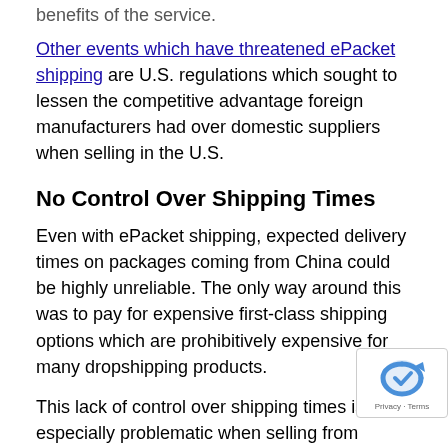benefits of the service.
Other events which have threatened ePacket shipping are U.S. regulations which sought to lessen the competitive advantage foreign manufacturers had over domestic suppliers when selling in the U.S.
No Control Over Shipping Times
Even with ePacket shipping, expected delivery times on packages coming from China could be highly unreliable. The only way around this was to pay for expensive first-class shipping options which are prohibitively expensive for many dropshipping products.
This lack of control over shipping times is especially problematic when selling from AliExpress on eBay. For eBay, the primary concern is ensuring a quality customer experience. So, when customers regularly get orders days and even weeks later than expected, that's a problem.
The solution for eBay was to hold sellers responsible for late